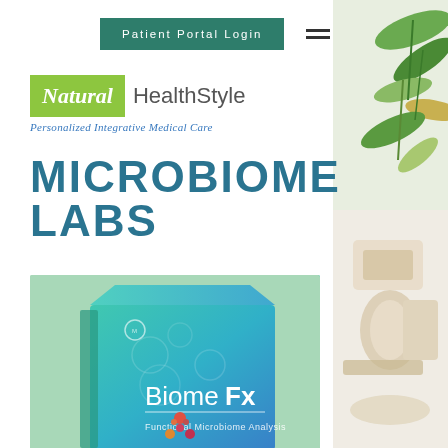Patient Portal Login
Natural HealthStyle
Personalized Integrative Medical Care
MICROBIOME LABS
[Figure (photo): BiomeFx Functional Microbiome Analysis product box, teal and blue gradient colored box on a mint green background]
[Figure (photo): Decorative right column: top portion shows green leaves/herbs on white background; bottom portion shows natural/spa items on light background]
[Figure (logo): Colorful dots/circles logo at bottom center]